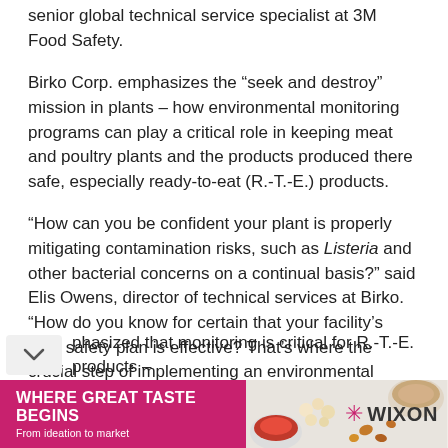senior global technical service specialist at 3M Food Safety.
Birko Corp. emphasizes the “seek and destroy” mission in plants – how environmental monitoring programs can play a critical role in keeping meat and poultry plants and the products produced there safe, especially ready-to-eat (R.-T.-E.) products.
“How can you be confident your plant is properly mitigating contamination risks, such as Listeria and other bacterial concerns on a continual basis?” said Elis Owens, director of technical services at Birko. “How do you know for certain that your facility’s food safety plan is effective? That’s where the crucial step of implementing an environmental monitoring program comes in.”
phasized that monitoring is critical for R.-T-E. products –
[Figure (other): Advertisement banner for Wixon: 'WHERE GREAT TASTE BEGINS / From ideation to market' with food images and Wixon logo]